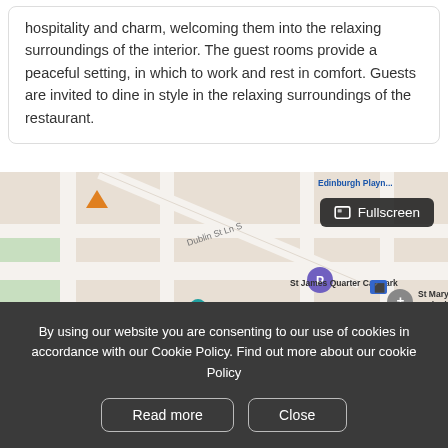hospitality and charm, welcoming them into the relaxing surroundings of the interior. The guest rooms provide a peaceful setting, in which to work and rest in comfort. Guests are invited to dine in style in the relaxing surroundings of the restaurant.
[Figure (map): Street map showing area around St James Quarter, Edinburgh, with markers for St James Quarter Car Park, Genting Casino York Place, Scottish National Portrait Gallery, St Mary's Cathedral, Q-Park OmniCentre, and Edinburgh Playhouse. A Fullscreen button overlay is visible.]
By using our website you are consenting to our use of cookies in accordance with our Cookie Policy. Find out more about our cookie Policy
Read more
Close